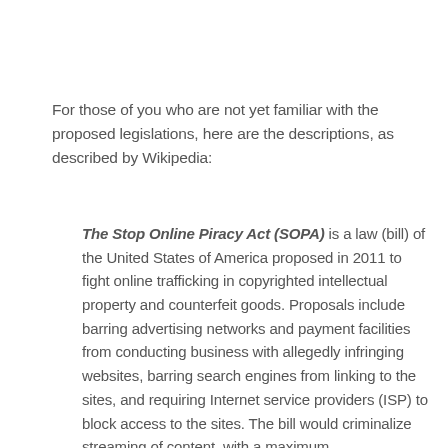For those of you who are not yet familiar with the proposed legislations, here are the descriptions, as described by Wikipedia:
The Stop Online Piracy Act (SOPA) is a law (bill) of the United States of America proposed in 2011 to fight online trafficking in copyrighted intellectual property and counterfeit goods. Proposals include barring advertising networks and payment facilities from conducting business with allegedly infringing websites, barring search engines from linking to the sites, and requiring Internet service providers (ISP) to block access to the sites. The bill would criminalize streaming of content, with a maximum penalty of five years in prison.